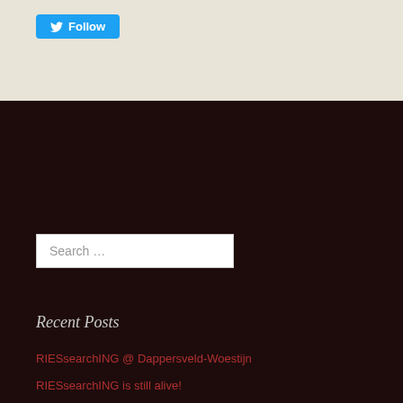[Figure (other): Twitter Follow button (blue) at top left]
Search …
Recent Posts
RIESsearchING @ Dappersveld-Woestijn
RIESsearchING is still alive!
RIESsearchING @ Timo Dienhart Roemerkelter!
RIESsearchING @ Weingut Am Berg
RIESsearchING and not so